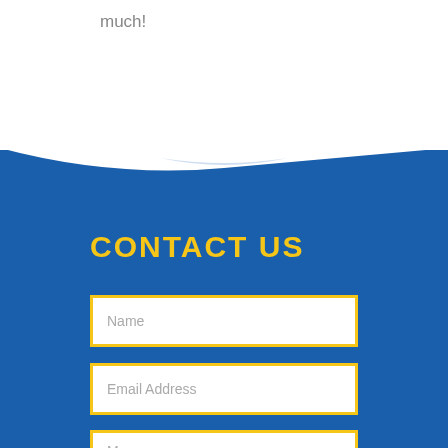much!
[Figure (illustration): Blue decorative wave/chevron divider between white and blue sections]
CONTACT US
Name
Email Address
M...